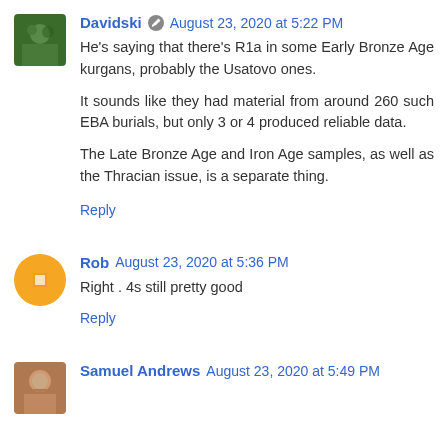Davidski · August 23, 2020 at 5:22 PM
He's saying that there's R1a in some Early Bronze Age kurgans, probably the Usatovo ones.

It sounds like they had material from around 260 such EBA burials, but only 3 or 4 produced reliable data.

The Late Bronze Age and Iron Age samples, as well as the Thracian issue, is a separate thing.
Reply
Rob  August 23, 2020 at 5:36 PM
Right . 4s still pretty good
Reply
Samuel Andrews  August 23, 2020 at 5:49 PM